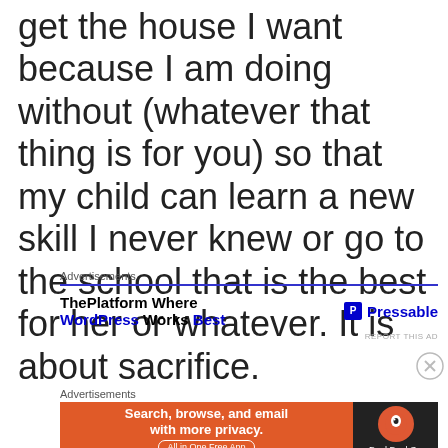get the house I want because I am doing without (whatever that thing is for you) so that my child can learn a new skill I never knew or go to the school that is the best for her or whatever. It is about sacrifice.
Advertisements
[Figure (other): Advertisement banner for ThePlatform Where WordPress Works Best, with Pressable logo]
[Figure (other): Advertisement banner: DuckDuckGo - Search, browse, and email with more privacy. All in One Free App]